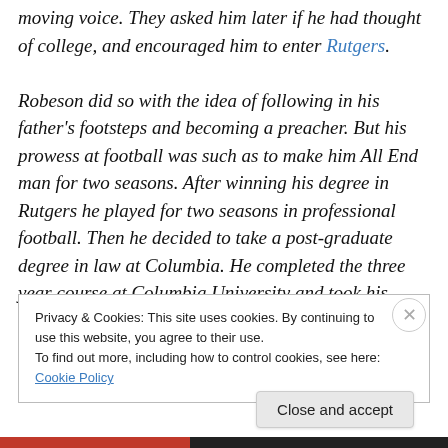moving voice. They asked him later if he had thought of college, and encouraged him to enter Rutgers. Robeson did so with the idea of following in his father's footsteps and becoming a preacher. But his prowess at football was such as to make him All End man for two seasons. After winning his degree in Rutgers he played for two seasons in professional football. Then he decided to take a post-graduate degree in law at Columbia. He completed the three year course at Columbia University and took his degree. At the time of graduation he
Privacy & Cookies: This site uses cookies. By continuing to use this website, you agree to their use. To find out more, including how to control cookies, see here: Cookie Policy
Close and accept